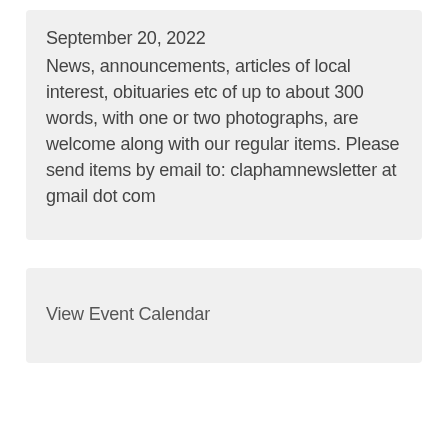September 20, 2022
News, announcements, articles of local interest, obituaries etc of up to about 300 words, with one or two photographs, are welcome along with our regular items. Please send items by email to: claphamnewsletter at gmail dot com
View Event Calendar